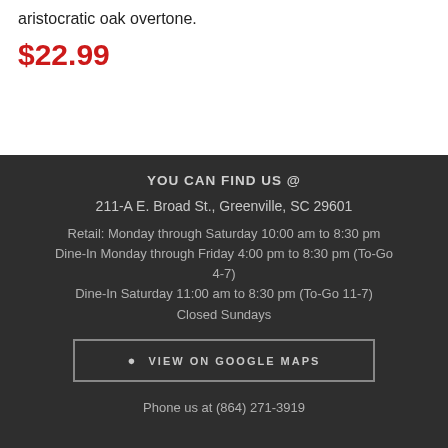aristocratic oak overtone.
$22.99
YOU CAN FIND US @
211-A E. Broad St., Greenville, SC 29601
Retail: Monday through Saturday 10:00 am to 8:30 pm
Dine-In Monday through Friday 4:00 pm to 8:30 pm (To-Go 4-7)
Dine-In Saturday 11:00 am to 8:30 pm (To-Go 11-7)
Closed Sundays
VIEW ON GOOGLE MAPS
Phone us at (864) 271-3919